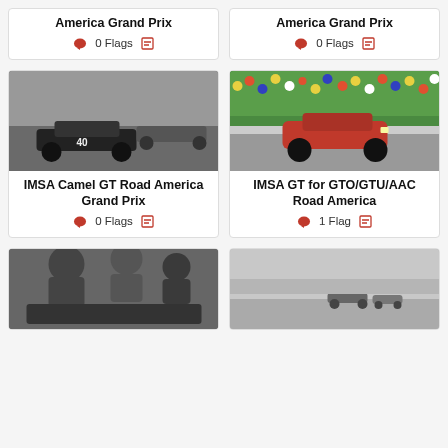America Grand Prix
0 Flags
America Grand Prix
0 Flags
[Figure (photo): Black and white photo of race car #40 on track]
IMSA Camel GT Road America Grand Prix
0 Flags
[Figure (photo): Color photo of red Ferrari race car on track with crowd]
IMSA GT for GTO/GTU/AAC Road America
1 Flag
[Figure (photo): Black and white photo of pit crew working on race car]
[Figure (photo): Black and white photo of race cars on track]